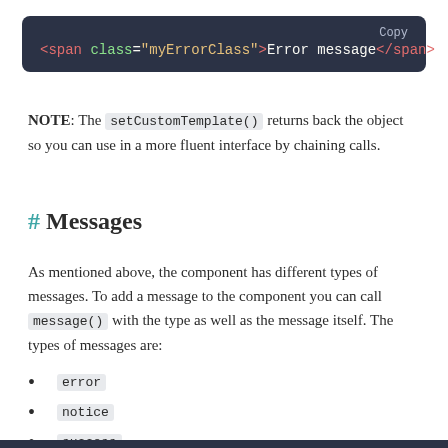[Figure (screenshot): Dark code block showing HTML snippet: <span class="myErrorClass">Error message</span> with a Copy button in top right corner]
NOTE: The setCustomTemplate() returns back the object so you can use in a more fluent interface by chaining calls.
# Messages
As mentioned above, the component has different types of messages. To add a message to the component you can call message() with the type as well as the message itself. The types of messages are:
error
notice
success
warning